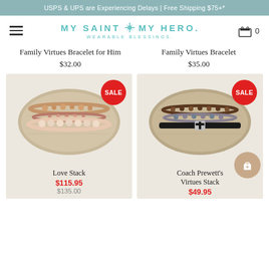USPS & UPS are Experiencing Delays | Free Shipping $75+*
[Figure (logo): MY SAINT MY HERO WEARABLE BLESSINGS logo with navigation bar, hamburger menu and cart icon showing 0]
Family Virtues Bracelet for Him
$32.00
Family Virtues Bracelet
$35.00
[Figure (photo): Rose gold bracelet stack on burlap pillow display with SALE badge]
[Figure (photo): Dark beaded bracelet stack with cross charm on burlap pillow display with SALE badge]
Love Stack
$115.95
$135.00
Coach Prewett's Virtues Stack
$49.95